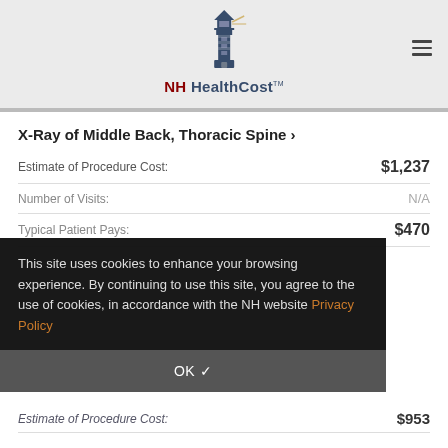[Figure (logo): NH HealthCost logo with lighthouse illustration]
X-Ray of Middle Back, Thoracic Spine ›
| Label | Value |
| --- | --- |
| Estimate of Procedure Cost: | $1,237 |
| Number of Visits: | N/A |
| Typical Patient Pays: | $470 |
This site uses cookies to enhance your browsing experience. By continuing to use this site, you agree to the use of cookies, in accordance with the NH website Privacy Policy
| Label | Value |
| --- | --- |
| Estimate of Procedure Cost: | $953 |
| Number of Visits: | N/A |